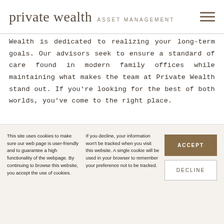private wealth ASSET MANAGEMENT
Wealth is dedicated to realizing your long-term goals. Our advisors seek to ensure a standard of care found in modern family offices while maintaining what makes the team at Private Wealth stand out. If you're looking for the best of both worlds, you've come to the right place.
Private Wealth Excels at Core
This site uses cookies to make sure our web page is user-friendly and to guarantee a high functionality of the webpage. By continuing to browse this website, you accept the use of cookies.
If you decline, your information won't be tracked when you visit this website. A single cookie will be used in your browser to remember your preference not to be tracked.